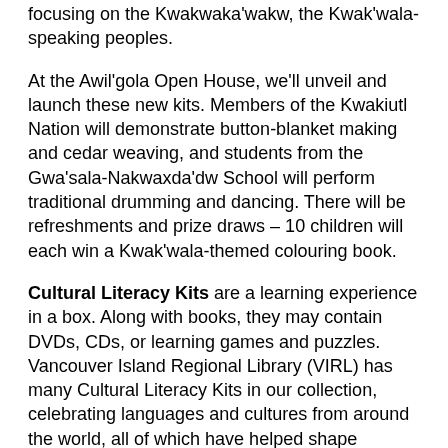focusing on the Kwakwaka'wakw, the Kwak'wala-speaking peoples.
At the Awil'gola Open House, we'll unveil and launch these new kits. Members of the Kwakiutl Nation will demonstrate button-blanket making and cedar weaving, and students from the Gwa'sala-Nakwaxda'dw School will perform traditional drumming and dancing. There will be refreshments and prize draws – 10 children will each win a Kwak'wala-themed colouring book.
Cultural Literacy Kits are a learning experience in a box. Along with books, they may contain DVDs, CDs, or learning games and puzzles. Vancouver Island Regional Library (VIRL) has many Cultural Literacy Kits in our collection, celebrating languages and cultures from around the world, all of which have helped shape Canada, and who continue to contribute to our multicultural world.
These new Kwak'wala Cultural Literacy Kits have an interesting history. In recent years, VIRL has been proud to participate in reconciliation, through programs like Read for